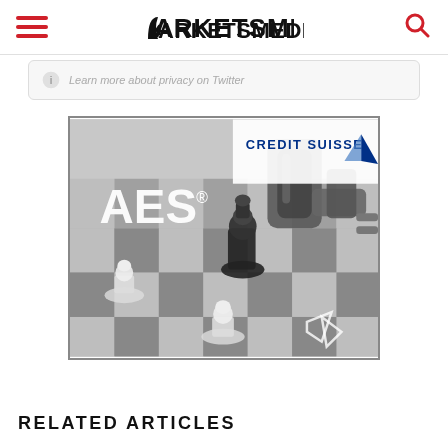MARKETSMEDIA
Learn more about privacy on Twitter
[Figure (advertisement): Credit Suisse AES advertisement featuring a robotic arm on a chess board with chess pieces. Text shows 'AES®' and 'CREDIT SUISSE' logo with sail icon.]
RELATED ARTICLES